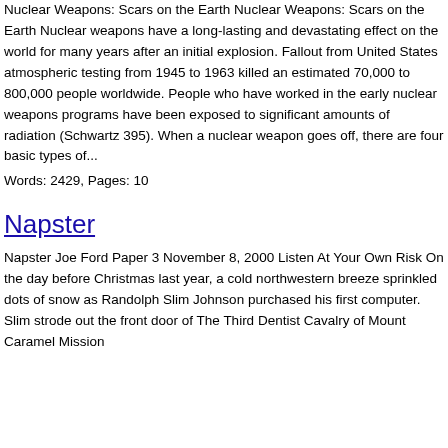Nuclear Weapons: Scars on the Earth Nuclear Weapons: Scars on the Earth Nuclear weapons have a long-lasting and devastating effect on the world for many years after an initial explosion. Fallout from United States atmospheric testing from 1945 to 1963 killed an estimated 70,000 to 800,000 people worldwide. People who have worked in the early nuclear weapons programs have been exposed to significant amounts of radiation (Schwartz 395). When a nuclear weapon goes off, there are four basic types of...
Words: 2429, Pages: 10
Napster
Napster Joe Ford Paper 3 November 8, 2000 Listen At Your Own Risk On the day before Christmas last year, a cold northwestern breeze sprinkled dots of snow as Randolph Slim Johnson purchased his first computer. Slim strode out the front door of The Third Dentist Cavalry of Mount Caramel Mission